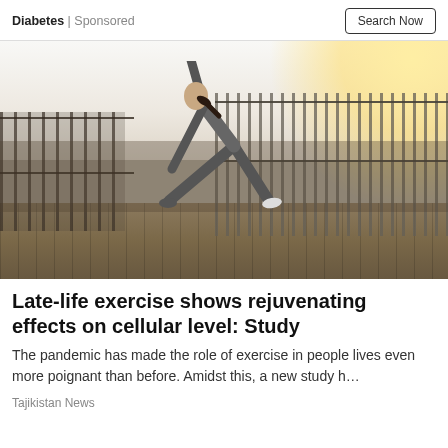Diabetes | Sponsored
[Figure (photo): A woman in athletic wear performing a triangle yoga pose on an outdoor wooden deck with metal railings, bright sunlight in the background]
Late-life exercise shows rejuvenating effects on cellular level: Study
The pandemic has made the role of exercise in people lives even more poignant than before. Amidst this, a new study h…
Tajikistan News